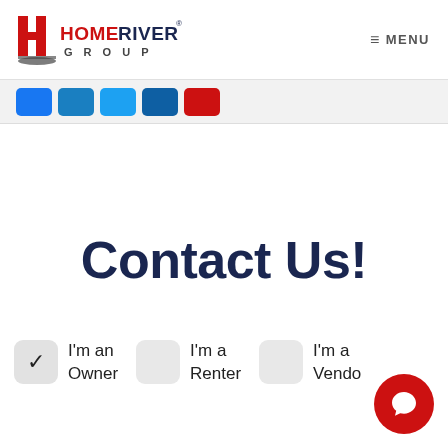[Figure (logo): HomeRiver Group logo with red H icon and red/navy text]
≡ MENU
[Figure (screenshot): Social media icon buttons: Facebook, Twitter, LinkedIn, YouTube in colored rounded rectangles]
Contact Us!
I'm an Owner
I'm a Renter
I'm a Vendor